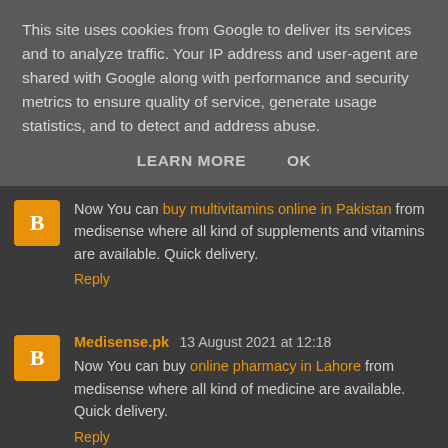This site uses cookies from Google to deliver its services and to analyze traffic. Your IP address and user-agent are shared with Google along with performance and security metrics to ensure quality of service, generate usage statistics, and to detect and address abuse.
LEARN MORE    OK
Now You can buy multivitamins online in Pakistan from medisense where all kind of supplements and vitamins are available. Quick delivery.
Reply
Medisense.pk  13 August 2021 at 12:18
Now You can buy online pharmacy in Lahore from medisense where all kind of medicine are available. Quick delivery.
Reply